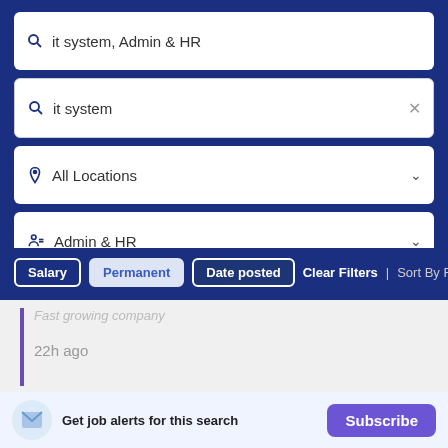[Figure (screenshot): Job search interface showing search bar with 'it system, Admin & HR', a second search field with 'it system' and clear button, location dropdown 'All Locations', category dropdown 'Admin & HR', filter buttons (Salary, Permanent, Date posted), Clear Filters and Sort By options, a job listing snippet with 'Fast growing company' and '22h ago', a photo strip, and a 'Get job alerts for this search' bar with Subscribe button.]